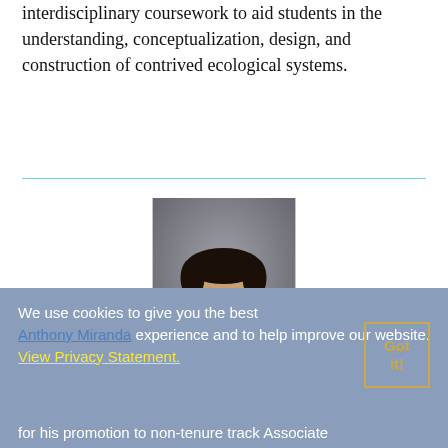interdisciplinary coursework to aid students in the understanding, conceptualization, design, and construction of contrived ecological systems.
[Figure (photo): Professional headshot of a young man in a brown suit jacket and striped tie, smiling, against a grey background.]
We use cookies to give you the best experience and to help improve our website. View Privacy Statement.
Anthony Miranda
for his promotion to non-tenure track Associate